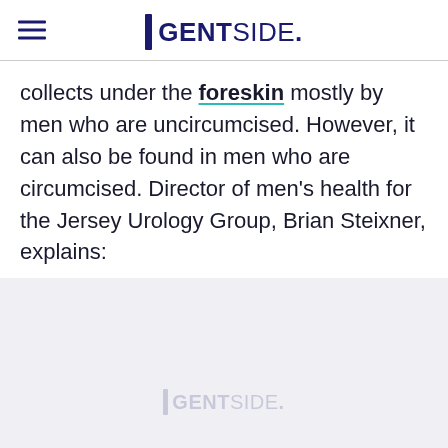GENTSIDE.
collects under the foreskin mostly by men who are uncircumcised. However, it can also be found in men who are circumcised. Director of men's health for the Jersey Urology Group, Brian Steixner, explains:
[Figure (photo): Grey/light image area with Gentside watermark logo centered]